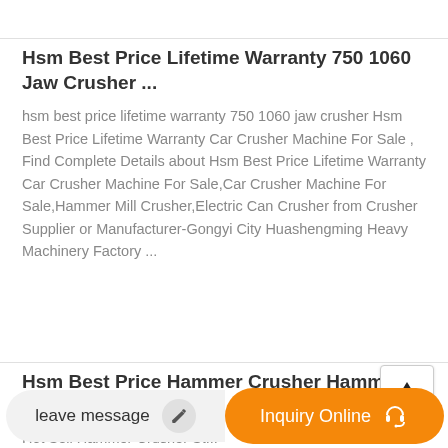Hsm Best Price Lifetime Warranty 750 1060 Jaw Crusher ...
hsm best price lifetime warranty 750 1060 jaw crusher Hsm Best Price Lifetime Warranty Car Crusher Machine For Sale , Find Complete Details about Hsm Best Price Lifetime Warranty Car Crusher Machine For Sale,Car Crusher Machine For Sale,Hammer Mill Crusher,Electric Can Crusher from Crusher Supplier or Manufacturer-Gongyi City Huashengming Heavy Machinery Factory ...
Hsm Best Price Hammer Crusher Hammer Mill Pulverizer
Hot Sell Hammer Crusher St...